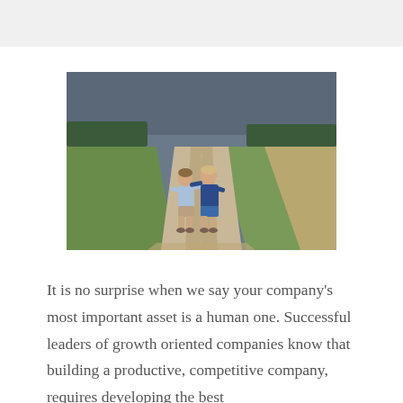[Figure (photo): Two young boys walking together down a long straight dirt road through flat farmland fields, with their arms around each other, viewed from behind. The sky is overcast and dark. Trees line the horizon.]
It is no surprise when we say your company's most important asset is a human one. Successful leaders of growth oriented companies know that building a productive, competitive company, requires developing the best